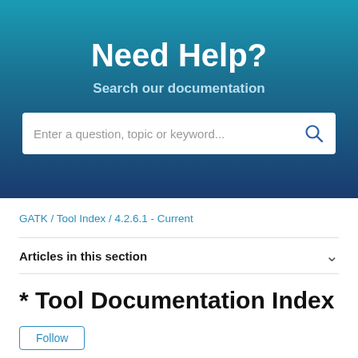Need Help?
Search our documentation
Enter a question, topic or keyword...
GATK / Tool Index / 4.2.6.1 - Current
Articles in this section
* Tool Documentation Index
Follow